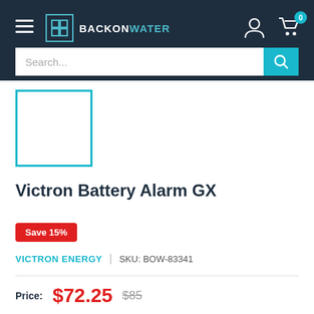BackOnWater navigation header with hamburger menu, logo, search bar, user icon and cart icon (0 items)
[Figure (other): Product image placeholder — empty white box with teal/cyan border]
Victron Battery Alarm GX
Save 15%
VICTRON ENERGY | SKU: BOW-83341
Price: $72.25  $85